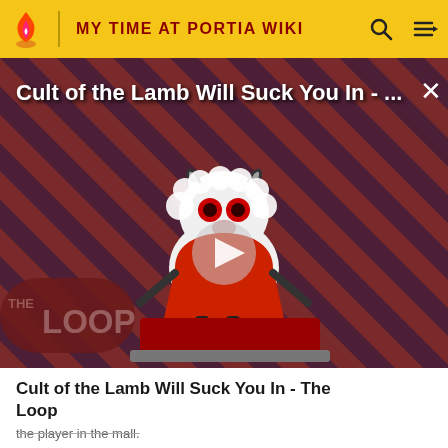MY TIME AT PORTIA WIKI
[Figure (screenshot): Video thumbnail for 'Cult of the Lamb Will Suck You In - The Loop' showing a cartoon lamb character on a red striped background with a play button overlay and THE LOOP text]
Cult of the Lamb Will Suck You In - The Loop
the player in the mall.
Basic Sewing Machine
Carving Knife